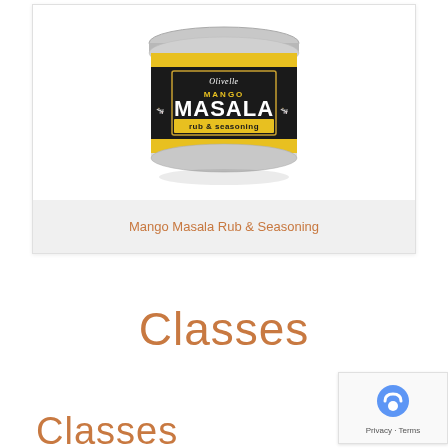[Figure (photo): Olivelle Mango Masala Rub & Seasoning product tin with silver lid, black and yellow label]
Mango Masala Rub & Seasoning
Classes
Classes